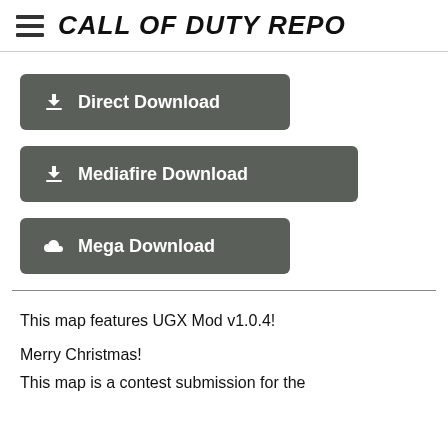CALL OF DUTY REPO
Direct Download
Mediafire Download
Mega Download
This map features UGX Mod v1.0.4!
Merry Christmas!
This map is a contest submission for the